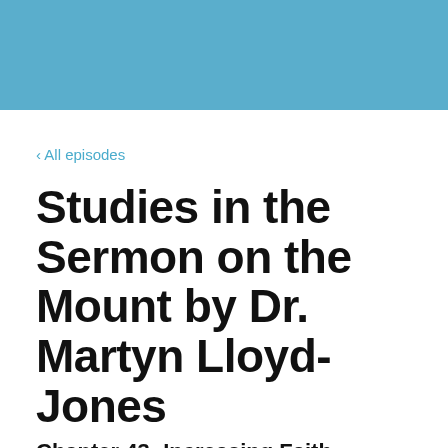[Figure (other): Blue header banner at top of page]
‹ All episodes
Studies in the Sermon on the Mount by Dr. Martyn Lloyd-Jones
Chapter 43: Increasing Faith
APRIL 22, 2020   NARRATED BY CHRIS ALLEN   SEASON 4   EPISODE 13
[Figure (screenshot): Preview box with text: Studies in the Sermon on the M...]